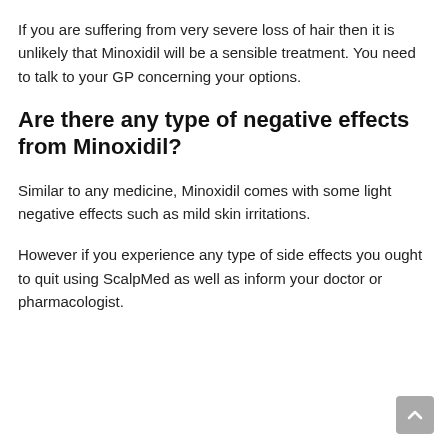If you are suffering from very severe loss of hair then it is unlikely that Minoxidil will be a sensible treatment. You need to talk to your GP concerning your options.
Are there any type of negative effects from Minoxidil?
Similar to any medicine, Minoxidil comes with some light negative effects such as mild skin irritations.
However if you experience any type of side effects you ought to quit using ScalpMed as well as inform your doctor or pharmacologist.